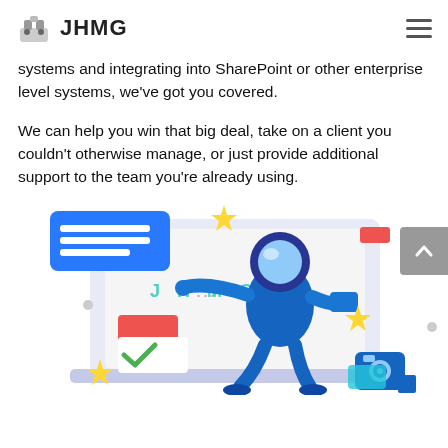JHMG
systems and integrating into SharePoint or other enterprise level systems, we've got you covered.
We can help you win that big deal, take on a client you couldn't otherwise manage, or just provide additional support to the team you're already using.
[Figure (illustration): Illustration of an astronaut in a blue spacesuit pointing at a laptop screen displaying 'JHMG', with colorful geometric shapes and decorative elements around it including yellow stars, a red rectangle, a camera icon, and a green checkmark on a form.]